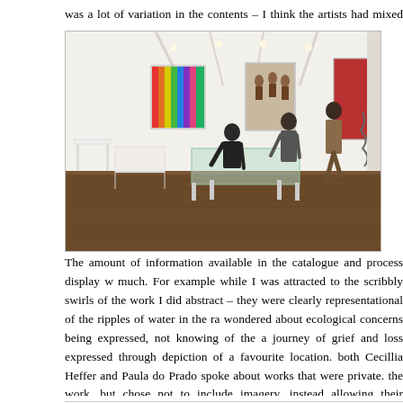was a lot of variation in the contents – I think the artists had mixed opinions too
[Figure (photo): Interior of an art gallery showing white walls, wooden floor, artworks on walls including colourful striped canvases and figurative prints, display tables with documents, and several visitors viewing the exhibition.]
The first piece I f Black Water #32: by Judy Hooworth. right of centre, a lig over a brownish o catalogue pdf – lin better photo). I sa time, considering process and moo by the Critical A
The amount of information available in the catalogue and process display w much. For example while I was attracted to the scribbly swirls of the work I did abstract – they were clearly representational of the ripples of water in the ra wondered about ecological concerns being expressed, not knowing of the a journey of grief and loss expressed through depiction of a favourite location. both Cecillia Heffer and Paula do Prado spoke about works that were private. the work, but chose not to include imagery, instead allowing their audience t story and meaning in the work. Cecillia described it as gaps, silences a questions in another's story.